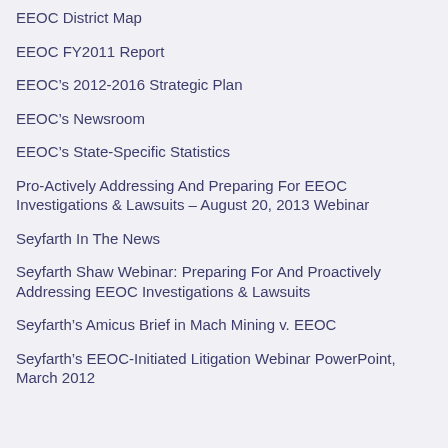EEOC District Map
EEOC FY2011 Report
EEOC’s 2012-2016 Strategic Plan
EEOC’s Newsroom
EEOC’s State-Specific Statistics
Pro-Actively Addressing And Preparing For EEOC Investigations & Lawsuits – August 20, 2013 Webinar
Seyfarth In The News
Seyfarth Shaw Webinar: Preparing For And Proactively Addressing EEOC Investigations & Lawsuits
Seyfarth’s Amicus Brief in Mach Mining v. EEOC
Seyfarth’s EEOC-Initiated Litigation Webinar PowerPoint, March 2012